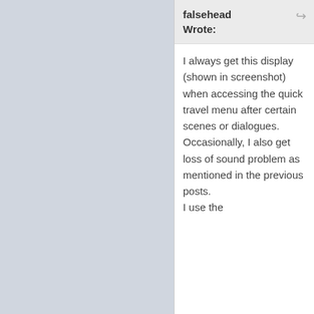falsehead Wrote:
I always get this display (shown in screenshot) when accessing the quick travel menu after certain scenes or dialogues. Occasionally, I also get loss of sound problem as mentioned in the previous posts.
I use the